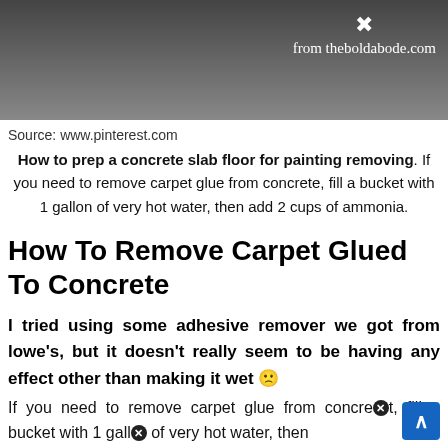[Figure (photo): Photo of feet/shoes on a concrete floor, with watermark 'from theboldabode.com' and a close icon]
Source: www.pinterest.com
How to prep a concrete slab floor for painting removing. If you need to remove carpet glue from concrete, fill a bucket with 1 gallon of very hot water, then add 2 cups of ammonia.
How To Remove Carpet Glued To Concrete
I tried using some adhesive remover we got from lowe's, but it doesn't really seem to be having any effect other than making it wet 😕
If you need to remove carpet glue from concrete, fill a bucket with 1 gallo of very hot water, then